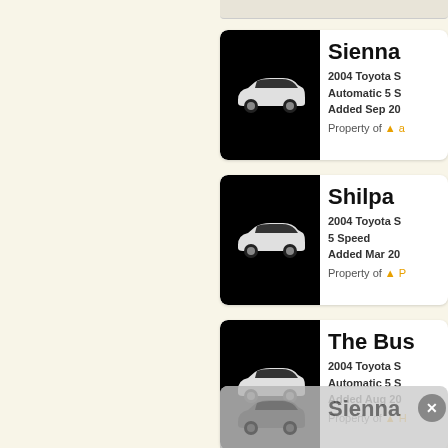[Figure (screenshot): Car listing card for 'Sienna' - 2004 Toyota S, Automatic 5 S, Added Sep 20, Property of a. Black card with white car icon.]
[Figure (screenshot): Car listing card for 'Shilpa' - 2004 Toyota S, 5 Speed, Added Mar 20, Property of P. Black card with white car icon.]
[Figure (screenshot): Car listing card for 'The Bus' - 2004 Toyota S, Automatic 5 S, Added Aug 20, Property of H. Black card with white car icon.]
[Figure (screenshot): Partial greyed-out card showing 'Sienna' with close button (x).]